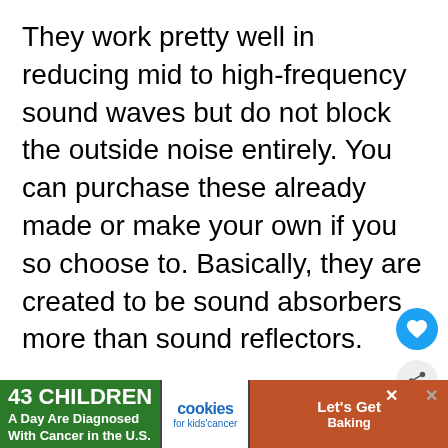They work pretty well in reducing mid to high-frequency sound waves but do not block the outside noise entirely. You can purchase these already made or make your own if you so choose to. Basically, they are created to be sound absorbers more than sound reflectors.
Acoustic panels are sometimes referred to as sound panels or sound absorption panels. Although these panels are pretty inexpensive to purchase, you can actually make your own. You can buy some of the mass-loaded vinyl th...
[Figure (screenshot): Advertisement banner at the bottom: '43 CHILDREN A Day Are Diagnosed With Cancer in the U.S.' with cookies for kids' cancer logo and 'Let's Get Baking' text on brown/orange background.]